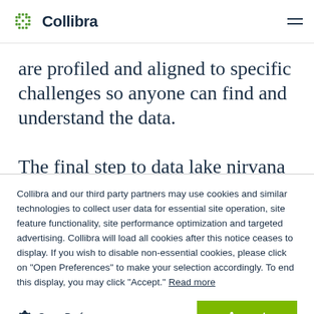Collibra
are profiled and aligned to specific challenges so anyone can find and understand the data.
The final step to data lake nirvana is governance. Applying the right governance will
Collibra and our third party partners may use cookies and similar technologies to collect user data for essential site operation, site feature functionality, site performance optimization and targeted advertising. Collibra will load all cookies after this notice ceases to display. If you wish to disable non-essential cookies, please click on "Open Preferences" to make your selection accordingly. To end this display, you may click "Accept." Read more
Open Preferences
Accept